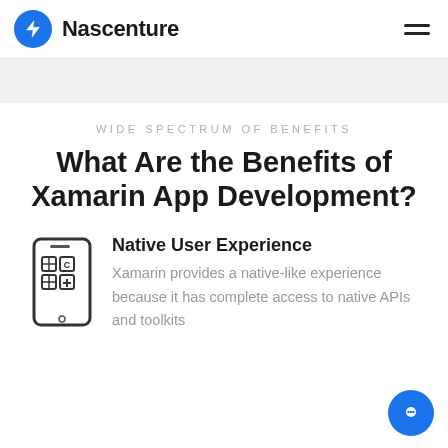Nascenture
WIDE SPECTRUM OF BENEFITS
What Are the Benefits of Xamarin App Development?
[Figure (illustration): Mobile phone icon with app grid and plus symbol, representing native mobile app development]
Native User Experience
Xamarin provides a native-like experience because it has complete access to native APIs and toolkits